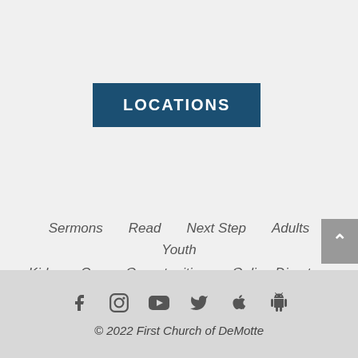LOCATIONS
Sermons
Read
Next Step
Adults
Youth
Kids
Career Opportunities
Online Directory
Contact
[Figure (infographic): Social media icons: Facebook, Instagram, YouTube, Twitter, Apple, Android]
© 2022 First Church of DeMotte